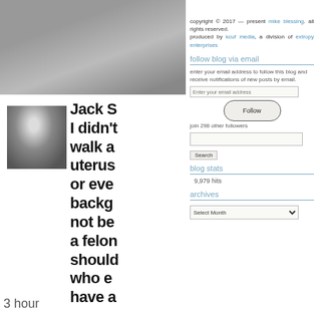[Figure (photo): Top-left photo of person in grey top with sparkly/glittery background]
[Figure (photo): Partial right-side photo strip, light purple/grey background]
copyright © 2017 — present mike blessing. all rights reserved.
produced by kcuf media, a division of extropy enterprises
follow blog via email
enter your email address to follow this blog and receive notifications of new posts by email.
Enter your email address
Follow
join 298 other followers
Search
blog stats
9,979 hits
archives
Select Month
[Figure (photo): Small black and white avatar photo of person with dark hair]
Jack S
I didn't
walk a
uterus
or eve
backg
not be
a felon
should
who e
have a
3 hour